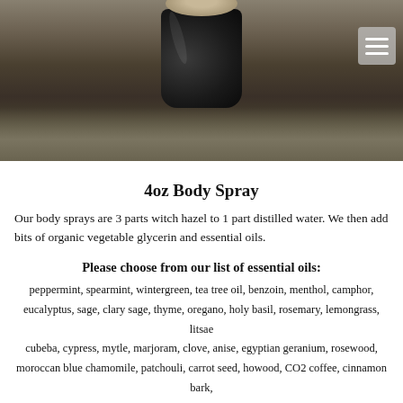[Figure (photo): A dark glass jar/bottle sitting on mossy ground, photographed from above at an angle. The jar has a beige/tan lid and a dark body. Background is textured moss and dried herbs.]
4oz Body Spray
Our body sprays are 3 parts witch hazel to 1 part distilled water. We then add bits of organic vegetable glycerin and essential oils.
Please choose from our list of essential oils:
peppermint, spearmint, wintergreen, tea tree oil, benzoin, menthol, camphor, eucalyptus, sage, clary sage, thyme, oregano, holy basil, rosemary, lemongrass, litsae cubeba, cypress, mytle, marjoram, clove, anise, egyptian geranium, rosewood, moroccan blue chamomile, patchouli, carrot seed, howood, CO2 coffee, cinnamon bark, nutmeg, cedarwood, sweet orange, lemon, lime, tangerine, bergamot, ylang ylang, freesia, jasmine, rose, lilac, violet, gardenia, tulip, lily, blue lotus, pink lotus & white